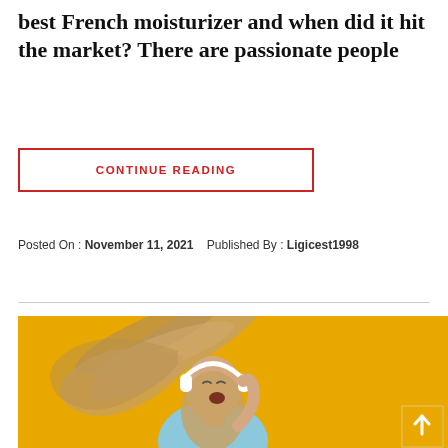best French moisturizer and when did it hit the market? There are passionate people
CONTINUE READING
Posted On : November 11, 2021   Published By : Ligicest1998
[Figure (photo): Woman with flowing hair wearing white headphones, singing or dancing joyfully, against a bright yellow/orange background. A yellow scroll-to-top button is visible in the bottom right corner.]